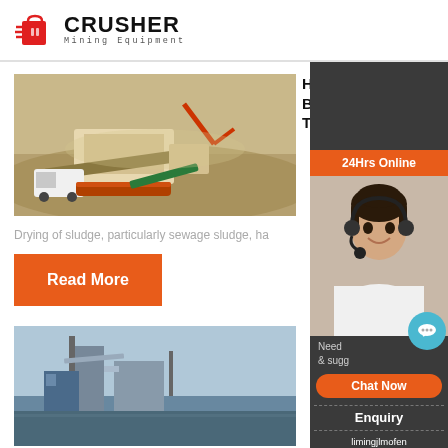[Figure (logo): Crusher Mining Equipment logo with red shopping bag icon and bold text]
[Figure (photo): Aerial view of mobile crushing and mining equipment in a quarry/mine site]
HUBER Belt Dryer BT - Huber Technology Inc.
Drying of sludge, particularly sewage sludge, ha
Read More
[Figure (photo): Industrial equipment or facility, second article image]
[Figure (photo): Support person wearing headset - 24Hrs Online customer service banner]
Need & sugg
Chat Now
Enquiry
limingjlmofen@sina.com